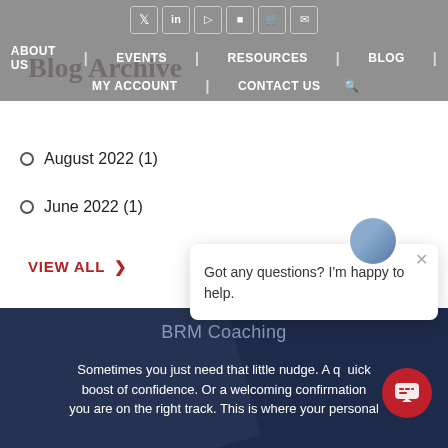ABOUT US | EVENTS | RESOURCES | BLOG | MY ACCOUNT | CONTACT US
Blog Archive
August 2022 (1)
June 2022 (1)
VIEW ALL >
[Figure (screenshot): Chat popup widget with avatar, close button, and message: Got any questions? I'm happy to help.]
BRM Coaching
Sometimes you just need that little nudge. A quick boost of confidence. Or a welcoming confirmation you are on the right track. This is where your personal